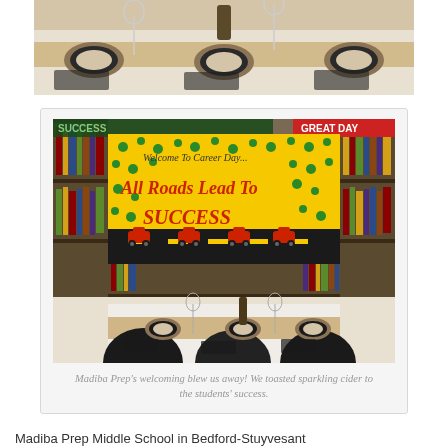[Figure (photo): Top cropped photo of a formal table setting with plates, glasses, and decorative placemats on a burlap runner — partially cropped at top of page]
[Figure (photo): Photo of a library room at Madiba Prep Middle School showing a yellow handmade banner reading 'Welcome To Career Day — All Roads Lead To SUCCESS' with red cartoon cars and green polka dots, hung over bookshelves. In the foreground is a formal table setting with plates, glasses, and chairs.]
Madiba Prep's welcoming blew us away! We toasted sparkling cider to the students' success.
Madiba Prep Middle School in Bedford-Stuyves ant